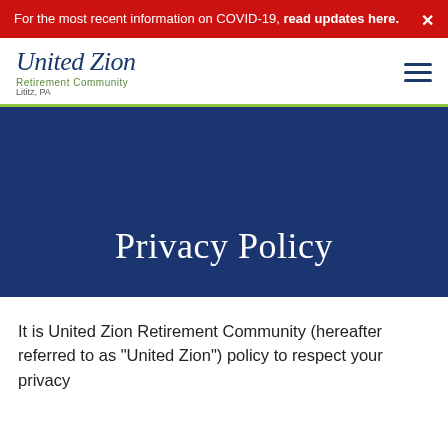For the most recent information on COVID-19, read updates here.
[Figure (logo): United Zion Retirement Community logo, Lititz PA, with script text and green subtitle]
Privacy Policy
It is United Zion Retirement Community (hereafter referred to as "United Zion") policy to respect your privacy regarding any information we may collect while